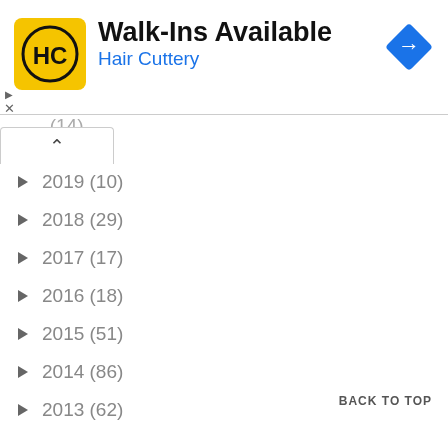[Figure (logo): Hair Cuttery advertisement banner with HC logo, Walk-Ins Available text, and navigation arrow icon]
2019 (10)
2018 (29)
2017 (17)
2016 (18)
2015 (51)
2014 (86)
2013 (62)
2012 (80)
December (6)
November (14)
BACK TO TOP